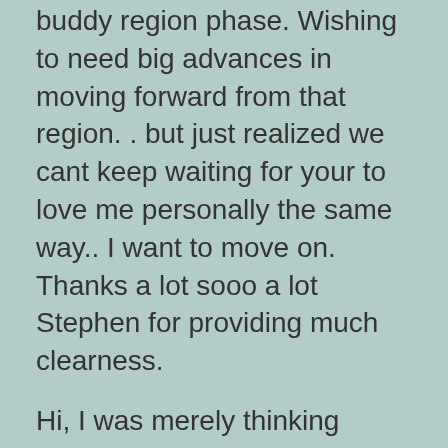buddy region phase. Wishing to need big advances in moving forward from that region. . but just realized we cant keep waiting for your to love me personally the same way.. I want to move on. Thanks a lot sooo a lot Stephen for providing much clearness.
Hi, I was merely thinking should you decide could Wright an article about how to include genuine value, in order to make a guy dedicate:).
Everyone loves Your